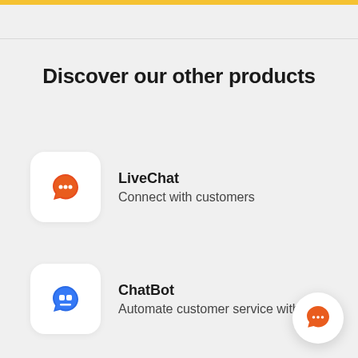Discover our other products
[Figure (logo): LiveChat orange chat bubble icon on white rounded square background]
LiveChat
Connect with customers
[Figure (logo): ChatBot blue chat bubble icon on white rounded square background]
ChatBot
Automate customer service with AI
[Figure (logo): LiveChat orange chat bubble icon on white circular FAB button]